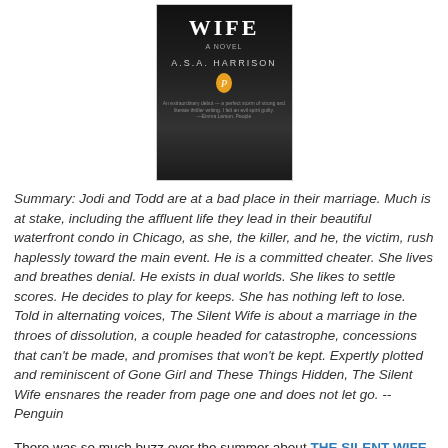[Figure (photo): Book cover of 'The Silent Wife' by A.S.A. Harrison. Dark background with white title text 'WIFE' prominently displayed, subtitle 'A NOVEL' and author name 'A.S.A. HARRISON' below, with a small Penguin Books emblem.]
Summary: Jodi and Todd are at a bad place in their marriage. Much is at stake, including the affluent life they lead in their beautiful waterfront condo in Chicago, as she, the killer, and he, the victim, rush haplessly toward the main event. He is a committed cheater. She lives and breathes denial. He exists in dual worlds. She likes to settle scores. He decides to play for keeps. She has nothing left to lose. Told in alternating voices, The Silent Wife is about a marriage in the throes of dissolution, a couple headed for catastrophe, concessions that can't be made, and promises that won't be kept. Expertly plotted and reminiscent of Gone Girl and These Things Hidden, The Silent Wife ensnares the reader from page one and does not let go. -- Penguin
There was so much buzz over the summer about THE SILENT WIFE by A.S.A. Harrison that I decided to pack it for